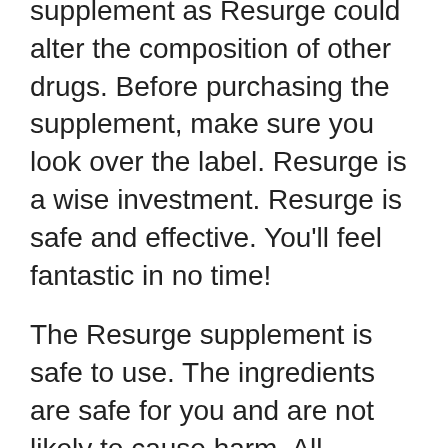supplement as Resurge could alter the composition of other drugs. Before purchasing the supplement, make sure you look over the label. Resurge is a wise investment. Resurge is safe and effective. You’ll feel fantastic in no time!
The Resurge supplement is safe to use. The ingredients are safe for you and are not likely to cause harm. All products come with a 60-day money back guarantee. The formula does not contain artificial colors or flavors. The supplement is also vegetarian. It is safe to purchase for everyone. It will help you lose weight before you go to bed at night. Resurge is free of any side effects.
Resurge isn’t a magic bullet. It is a